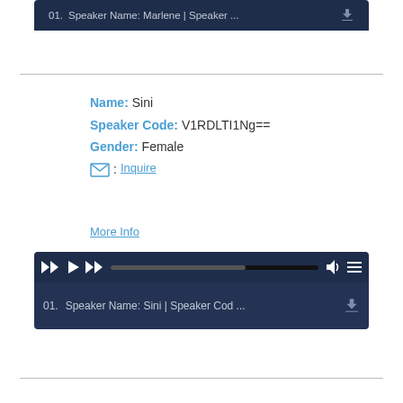[Figure (screenshot): Media player bar showing track: 01. Speaker Name: Marlene | Speaker ... with download icon, dark navy background]
Name: Sini
Speaker Code: V1RDLTI1Ng==
Gender: Female
[mail icon]: Inquire
More Info
[Figure (screenshot): Media player controls bar with rewind, play, fast-forward buttons, progress bar, volume and playlist icons on dark navy background]
[Figure (screenshot): Playlist bar showing: 01. Speaker Name: Sini | Speaker Cod ... with download icon, dark navy background]